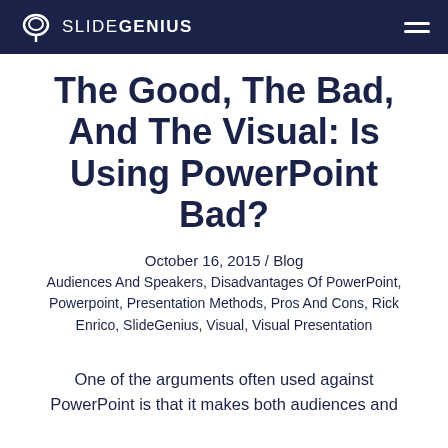SLIDEGENIUS
The Good, The Bad, And The Visual: Is Using PowerPoint Bad?
October 16, 2015 / Blog
Audiences And Speakers, Disadvantages Of PowerPoint, Powerpoint, Presentation Methods, Pros And Cons, Rick Enrico, SlideGenius, Visual, Visual Presentation
One of the arguments often used against PowerPoint is that it makes both audiences and